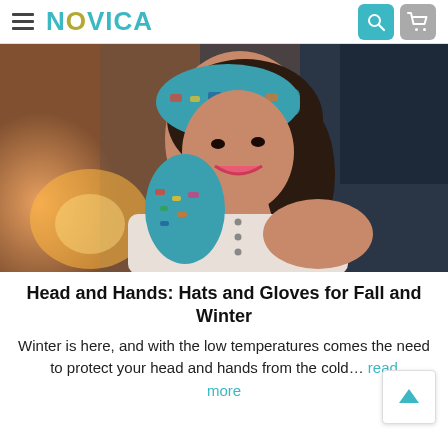NOVICA
[Figure (photo): A smiling woman wearing a colorful knit headband and matching gloves, with a white cardigan, posed with hands near her face against a blurred warm background.]
Head and Hands: Hats and Gloves for Fall and Winter
Winter is here, and with the low temperatures comes the need to protect your head and hands from the cold… read more